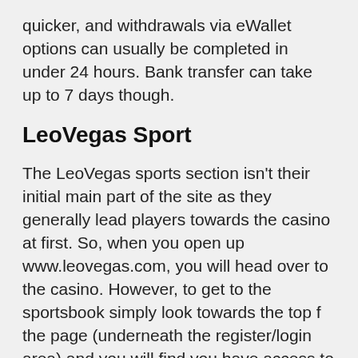quicker, and withdrawals via eWallet options can usually be completed in under 24 hours. Bank transfer can take up to 7 days though.
LeoVegas Sport
The LeoVegas sports section isn't their initial main part of the site as they generally lead players towards the casino at first. So, when you open up www.leovegas.com, you will head over to the casino. However, to get to the sportsbook simply look towards the top f the page (underneath the register/login area) and you will find you have access to live casino and sports. Click on the sports and you can now access the LeoVegas sports betting site.
The first thing we noticed when entering the site was the banners across the top, where they not only